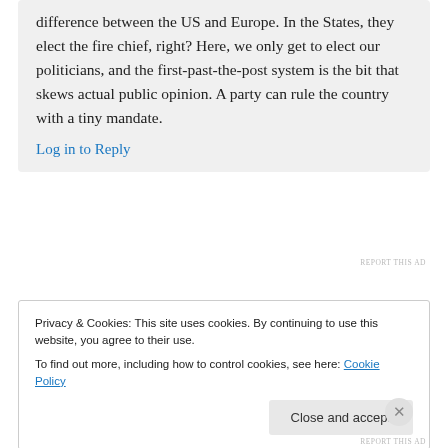difference between the US and Europe. In the States, they elect the fire chief, right? Here, we only get to elect our politicians, and the first-past-the-post system is the bit that skews actual public opinion. A party can rule the country with a tiny mandate.
Log in to Reply
REPORT THIS AD
Privacy & Cookies: This site uses cookies. By continuing to use this website, you agree to their use.
To find out more, including how to control cookies, see here: Cookie Policy
Close and accept